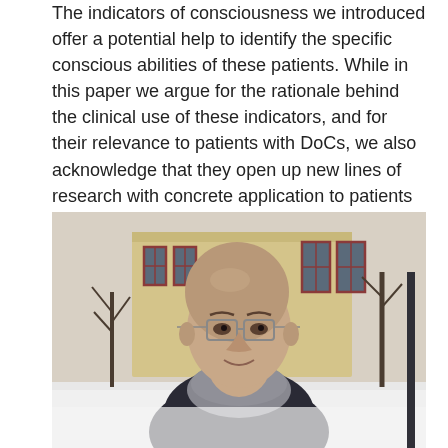The indicators of consciousness we introduced offer a potential help to identify the specific conscious abilities of these patients. While in this paper we argue for the rationale behind the clinical use of these indicators, and for their relevance to patients with DoCs, we also acknowledge that they open up new lines of research with concrete application to patients with DoCs. As already mentioned, this more applied work is in progress and we are confident of being able to present relevant results in the weeks to come.
[Figure (photo): A bald man wearing glasses and a grey scarf with a fur-trimmed dark jacket, smiling slightly outdoors in winter. In the background there is a yellow building with red-framed windows and bare trees with snow on the ground.]